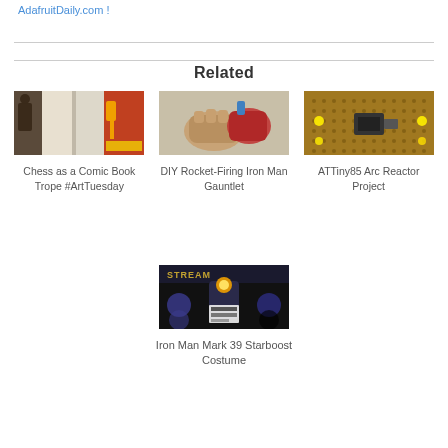AdafruitDaily.com !
Related
[Figure (photo): Chess as a Comic Book Trope #ArtTuesday – thumbnail showing comic book covers]
Chess as a Comic Book Trope #ArtTuesday
[Figure (photo): DIY Rocket-Firing Iron Man Gauntlet – thumbnail showing glove prop]
DIY Rocket-Firing Iron Man Gauntlet
[Figure (photo): ATTiny85 Arc Reactor Project – thumbnail showing circuit board]
ATTiny85 Arc Reactor Project
[Figure (photo): Iron Man Mark 39 Starboost Costume – thumbnail showing costume]
Iron Man Mark 39 Starboost Costume